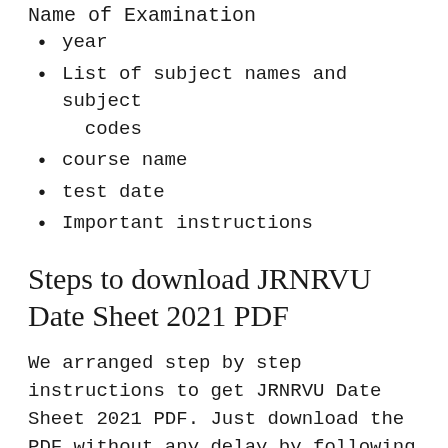Name of Examination
year
List of subject names and subject codes
course name
test date
Important instructions
Steps to download JRNRVU Date Sheet 2021 PDF
We arranged step by step instructions to get JRNRVU Date Sheet 2021 PDF. Just download the PDF without any delay by following the mentioned steps.